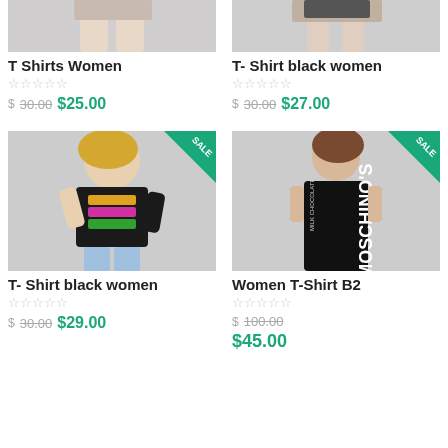[Figure (photo): Partial top crop of woman modeling T Shirts Women product]
T Shirts Women
☆☆☆☆☆
$ 30.00  $25.00
[Figure (photo): Partial top crop of woman modeling T-Shirt black women product]
T- Shirt black women
☆☆☆☆☆
$ 30.00  $27.00
[Figure (photo): Woman in black graphic crop top with colorful print, SALE badge in top right corner]
T- Shirt black women
☆☆☆☆☆
$ 30.00  $29.00
[Figure (photo): Woman in black Moschino's Milk Chocolate graphic t-shirt dress, SALE badge in top right corner]
Women T-Shirt B2
☆☆☆☆☆
$ 100.00  $45.00